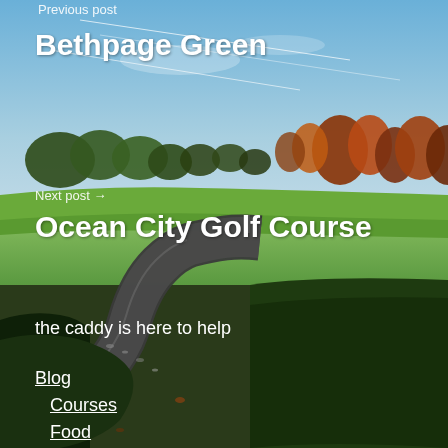[Figure (photo): Aerial view of a golf course fairway with a paved cart path curving through green grass, sand bunkers, trees in autumn colors, and a blue sky with cloud trails in the background.]
Previous post
Bethpage Green
Next post →
Ocean City Golf Course
the caddy is here to help
Blog
Courses
Food